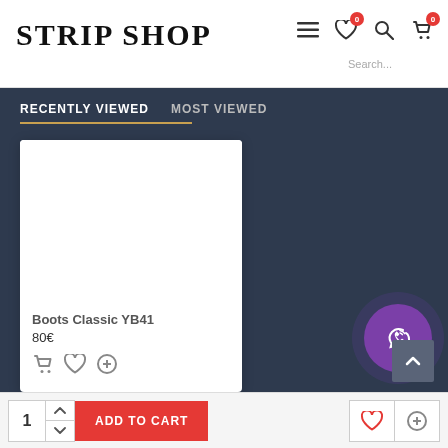Strip Shop
RECENTLY VIEWED   MOST VIEWED
[Figure (screenshot): Product card for Boots Classic YB41 showing white image area, product name, price 80€ and action icons]
Boots Classic YB41
80€
1  ADD TO CART